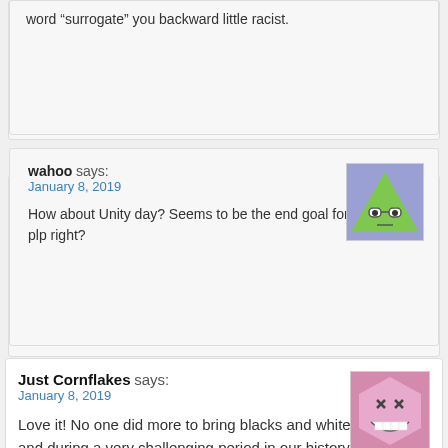word “surrogate” you backward little racist.
wahoo says:
January 8, 2019
How about Unity day? Seems to be the end goal for curb and plp right?
Just Cornflakes says:
January 8, 2019
Love it! No one did more to bring blacks and whites together – and during a very challenging period in our history – than the Rt. Hon. Voice of Summer! What a man!
lol says: